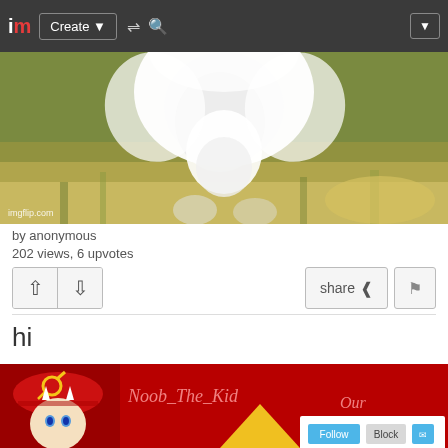im Create ▼ ⇌ 🔍 ▼
[Figure (photo): White fluffy animal (dog or cat) from below/behind angle on grass, with imgflip.com watermark]
by anonymous
202 views, 6 upvotes
↑ ↓  share ⋖ 🚩
hi
[Figure (screenshot): User profile banner for 'Noob_The_Kid' on red background with anime character, communist hat, triangle logo, and Follow/Block/Message buttons]